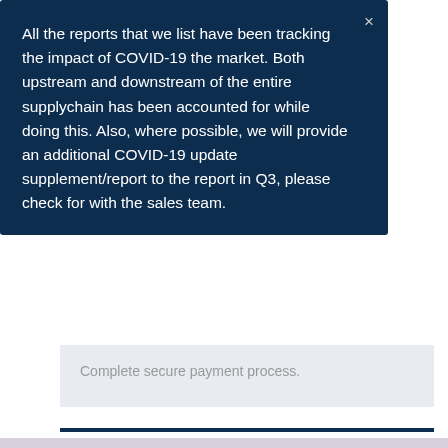All the reports that we list have been tracking the impact of COVID-19 the market. Both upstream and downstream of the entire supplychain has been accounted for while doing this. Also, where possible, we will provide an additional COVID-19 update supplement/report to the report in Q3, please check for with the sales team.
Complete secure payment process.
NEWSLETTER
Subscribe Now
SECURE ONLINE PAYMENTS